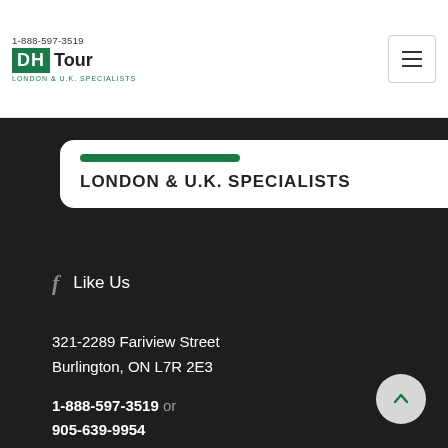1-888-597-3519 | DH Tour | LONDON & U.K. SPECIALISTS
LONDON & U.K. SPECIALISTS
Like Us
321-2289 Fariview Street
Burlington, ON L7R 2E3
1-888-597-3519 or
905-639-9954
dhtour@dhtour.ca